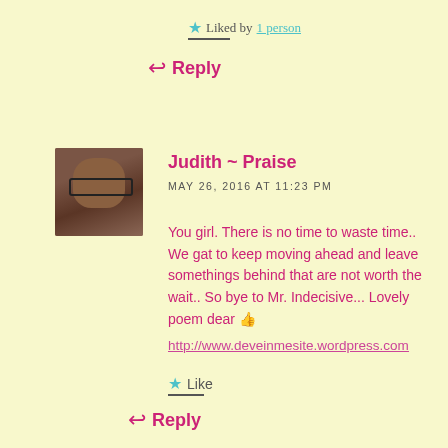★ Liked by 1 person
↩ Reply
[Figure (photo): Profile photo of Judith ~ Praise, a woman with glasses]
Judith ~ Praise
MAY 26, 2016 AT 11:23 PM
You girl. There is no time to waste time.. We gat to keep moving ahead and leave somethings behind that are not worth the wait.. So bye to Mr. Indecisive... Lovely poem dear 👍
http://www.deveinmesite.wordpress.com
★ Like
↩ Reply